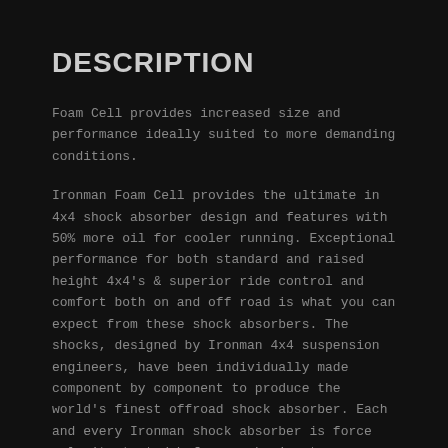DESCRIPTION
Foam Cell provides increased size and performance ideally suited to more demanding conditions.
Ironman Foam Cell provides the ultimate in 4x4 shock absorber design and features with 50% more oil for cooler running. Exceptional performance for both standard and raised height 4x4's & superior ride control and comfort both on and off road is what you can expect from these shock absorbers. The shocks, designed by Ironman 4x4 suspension engineers, have been individually made component by component to produce the world's finest offroad shock absorber. Each and every Ironman shock absorber is force velocity tested before packaging to ensure all parts received are uniform and within operating specification. High quality materials such as German Fuchs High temp shock absorber fluid, Japanese NOK multilip seals are used. Strength and durability requirements are sorted by the use of re-enforced single piece eye rings and stems. Rubber shock absorber bushes are used by Ironman, this is to promote maximum flexibility and reduction in unwanted side load and NVH (Noise Vibration Harshness) transmission which often causes seal